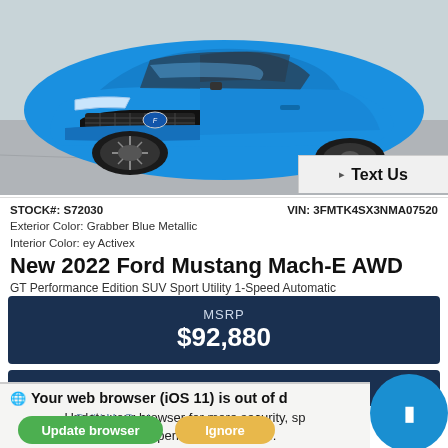[Figure (photo): Blue Ford Mustang Mach-E SUV photographed from front-left angle in a parking lot. Grabber Blue Metallic color with black wheels.]
Text Us
STOCK#: S72030
VIN: 3FMTK4SX3NMA07520
Exterior Color: Grabber Blue Metallic
Interior Color: ey Activex
New 2022 Ford Mustang Mach-E AWD
GT Performance Edition SUV Sport Utility 1-Speed Automatic
MSRP
$92,880
Request Information
Your web browser (iOS 11) is out of d…
Update your browser for more security, sp… the best experience on this site.
Build My Deal
Update browser
Ignore